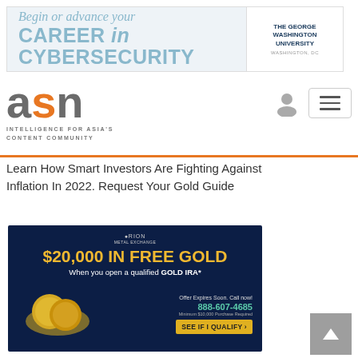[Figure (screenshot): Top banner advertisement for The George Washington University cybersecurity program: 'Begin or advance your CAREER in CYBERSECURITY']
[Figure (logo): ASN logo with text 'INTELLIGENCE FOR ASIA'S CONTENT COMMUNITY']
Learn How Smart Investors Are Fighting Against Inflation In 2022. Request Your Gold Guide
[Figure (screenshot): Orion Metal Exchange advertisement: '$20,000 IN FREE GOLD When you open a qualified GOLD IRA*', phone 888-607-4685, SEE IF I QUALIFY button]